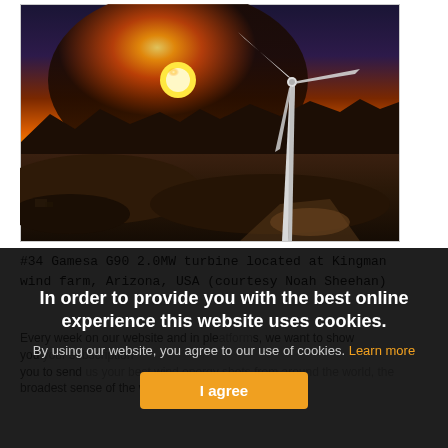[Figure (photo): Aerial photograph of Gamesa G90 2.0MW wind turbine at Kingman wind farm, Arizona, USA at sunset. The turbine stands tall against a dramatic orange and purple sky, with arid desert landscape and mountains in the background.]
#34 Gamesa G90 2.0MW turbine located at Kingman wind farm, Arizona, USA (courtesy Noah Sheehan)
Every week on our website and in ple... you to send... broadest sense of the word.
After 52 submissions we will... s year's best picture!
In order to provide you with the best online experience this website uses cookies. By using our website, you agree to our use of cookies. Learn more